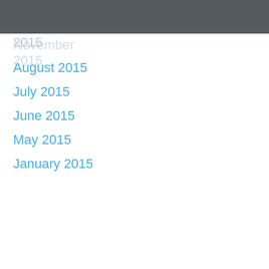October 2015
September 2015
November 2015
August 2015
July 2015
June 2015
May 2015
January 2015